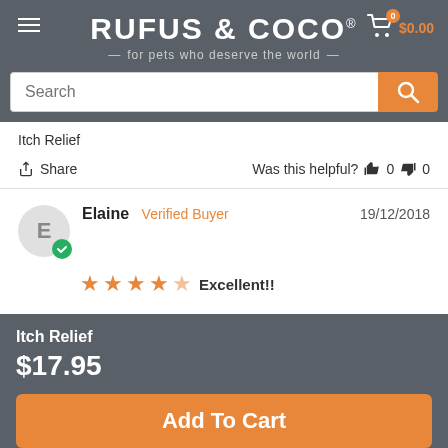RUFUS & COCO® — for pets who deserve the world —
Itch Relief
Share   Was this helpful?  👍 0  👎 0
Elaine  Verified Buyer   19/12/2018
Excellent!!
Itch Relief
$17.95
Add To Cart